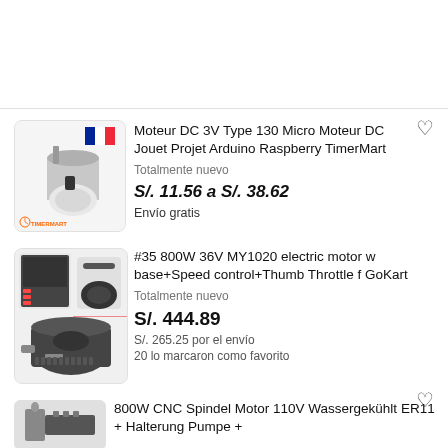[Figure (screenshot): eBay product listing screenshot showing electric motors for sale]
Moteur DC 3V Type 130 Micro Moteur DC Jouet Projet Arduino Raspberry TimerMart
Totalmente nuevo
S/. 11.56 a S/. 38.62
Envío gratis
#35 800W 36V MY1020 electric motor w base+Speed control+Thumb Throttle f GoKart
Totalmente nuevo
S/. 444.89
S/. 265.25 por el envío
20 lo marcaron como favorito
800W CNC Spindel Motor 110V Wassergekühlt ER11 + Halterung Pumpe +